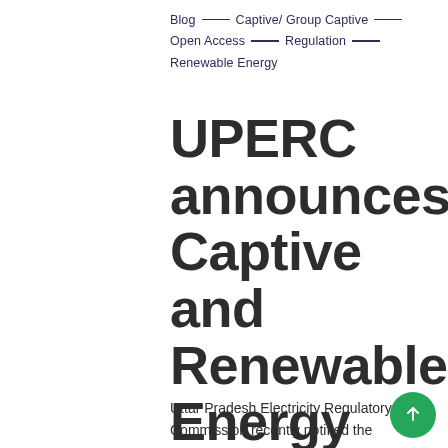Blog — Captive/ Group Captive — Open Access — Regulation — Renewable Energy
UPERC announces Captive and Renewable Energy plants Regulations, 2019
Uttar Pradesh Electricity Regulatory Commission recently notified the